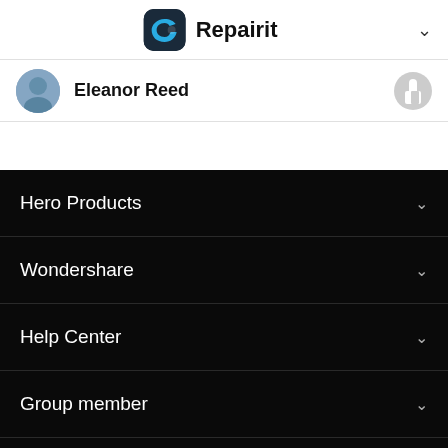Repairit
Eleanor Reed
Hero Products
Wondershare
Help Center
Group member
[Figure (logo): Wondershare logo - white W diamond shape with text 'wondershare' below]